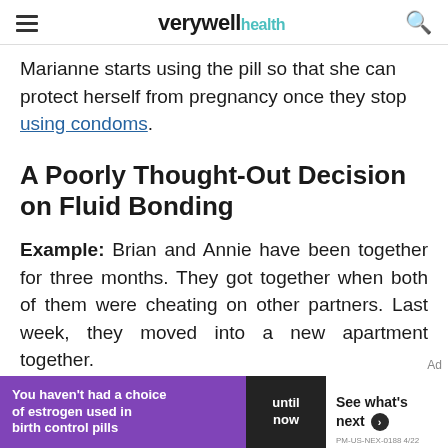verywell health
Marianne starts using the pill so that she can protect herself from pregnancy once they stop using condoms.
A Poorly Thought-Out Decision on Fluid Bonding
Example: Brian and Annie have been together for three months. They got together when both of them were cheating on other partners. Last week, they moved into a new apartment together.
Neither one of them has been recently tested for
[Figure (screenshot): Advertisement banner: 'You haven't had a choice of estrogen used in birth control pills until now. See what's next. PM-US-NEX-0188 4/22']